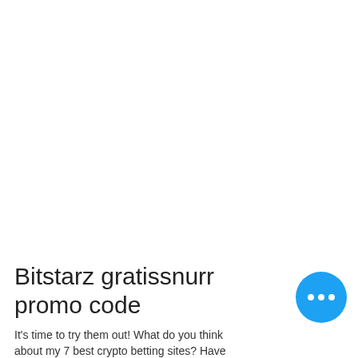Bitstarz gratissnurr promo code
It's time to try them out! What do you think about my 7 best crypto betting sites? Have
[Figure (other): Blue circular chat/menu button with three white dots (ellipsis) in the bottom-right area of the page]